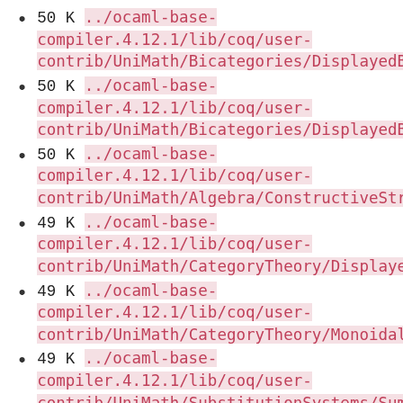50 K ../ocaml-base-compiler.4.12.1/lib/coq/user-contrib/UniMath/Bicategories/DisplayedBicats/B
50 K ../ocaml-base-compiler.4.12.1/lib/coq/user-contrib/UniMath/Bicategories/DisplayedBicats/B
50 K ../ocaml-base-compiler.4.12.1/lib/coq/user-contrib/UniMath/Algebra/ConstructiveStructures
49 K ../ocaml-base-compiler.4.12.1/lib/coq/user-contrib/UniMath/CategoryTheory/DisplayedCats/B
49 K ../ocaml-base-compiler.4.12.1/lib/coq/user-contrib/UniMath/CategoryTheory/Monoidal/Monoid
49 K ../ocaml-base-compiler.4.12.1/lib/coq/user-contrib/UniMath/SubstitutionSystems/SumOfSigna
49 K ../ocaml-base-compiler.4.12.1/lib/coq/user-